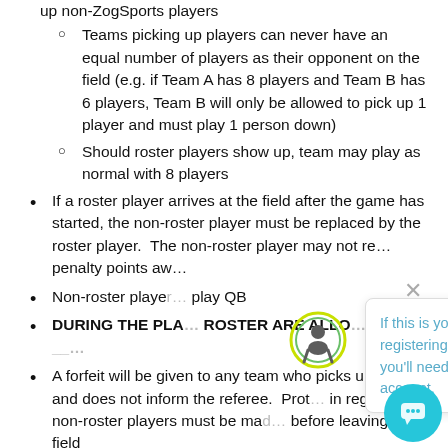up non-ZogSports players
Teams picking up players can never have an equal number of players as their opponent on the field (e.g. if Team A has 8 players and Team B has 6 players, Team B will only be allowed to pick up 1 player and must play 1 person down)
Should roster players show up, team may play as normal with 8 players
If a roster player arrives at the field after the game has started, the non-roster player must be replaced by the roster player. The non-roster player may not re... penalty points aw...
Non-roster player... play QB
DURING THE PLA... ROSTER ARE ALLO... -- -- -- ...
A forfeit will be given to any team who picks up players and does not inform the referee. Prot... in regards to non-roster players must be mad... before leaving the field
[Figure (illustration): Popup dialog with ZogSports icon (circle with person icon, yellow/green outline), X close button, and text: 'If this is your first time registering on our NEW site, you'll need to create an account.' in teal/blue color. Also a teal circular chat button in bottom right corner.]